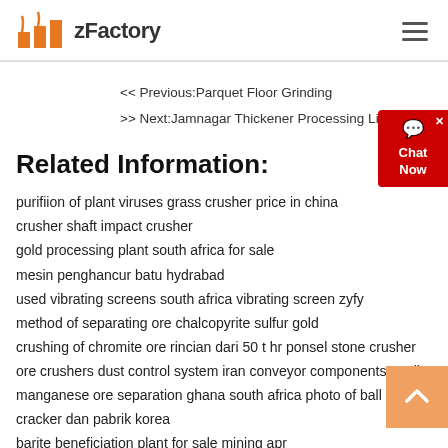zFactory
<< Previous:Parquet Floor Grinding
>> Next:Jamnagar Thickener Processing Limestone
Related Information:
purifiion of plant viruses grass crusher price in china
crusher shaft impact crusher
gold processing plant south africa for sale
mesin penghancur batu hydrabad
used vibrating screens south africa vibrating screen zyfy
method of separating ore chalcopyrite sulfur gold
crushing of chromite ore rincian dari 50 t hr ponsel stone crusher
ore crushers dust control system iran conveyor components quality
manganese ore separation ghana south africa photo of ball mill
cracker dan pabrik korea
barite beneficiation plant for sale mining apr